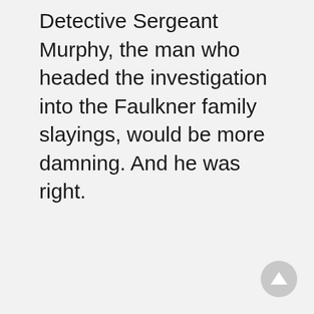Detective Sergeant Murphy, the man who headed the investigation into the Faulkner family slayings, would be more damning. And he was right.
[Figure (other): A circular scroll-to-top button with an upward arrow, light gray background, positioned at the bottom right corner of the page.]